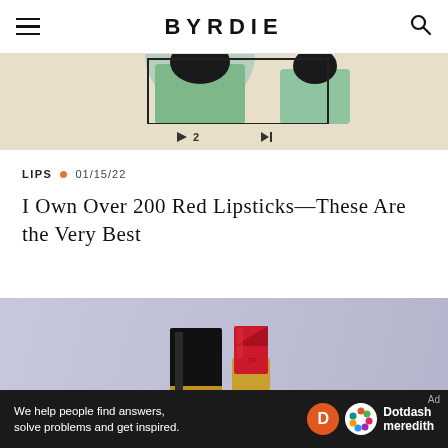BYRDIE
[Figure (screenshot): Partial view of a webpage image/video strip showing a person in a green top, with video controls including a play button with '2' and a forward arrow]
LIPS · 01/15/22
I Own Over 200 Red Lipsticks—These Are the Very Best
[Figure (photo): Product photo of a red lipstick (Tom Ford style) next to its black and gold case on a lavender/grey background]
We help people find answers, solve problems and get inspired. Dotdash meredith